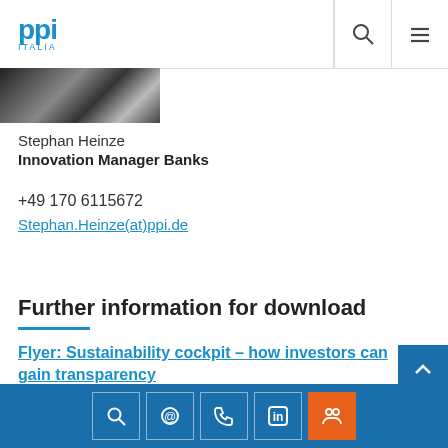ppi ITALIA
[Figure (photo): Partial black-and-white photo of a person, cropped at top]
Stephan Heinze
Innovation Manager Banks
+49 170 6115672
Stephan.Heinze(at)ppi.de
Further information for download
Flyer: Sustainability cockpit – how investors can gain transparency
Search, Email, Phone, LinkedIn, Contact icons